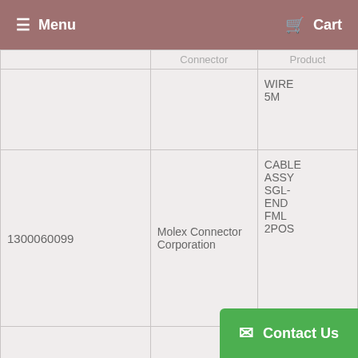Menu  Cart
|  | Connector | Product |
| --- | --- | --- |
|  |  | WIRE 5M |
| 1300060099 | Molex Connector Corporation | CABLE ASSY SGL-END FML 2POS |
| 1300060237 | Molex, LLC | CORDSET FEMALE 15' 16/3 PVC |